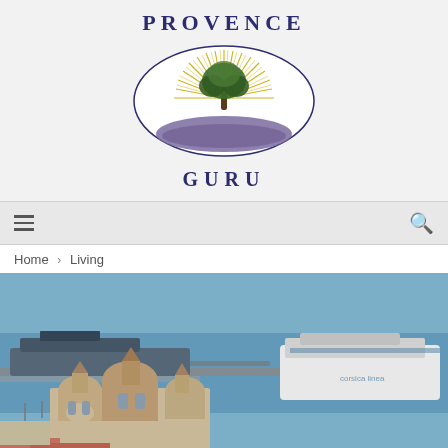[Figure (logo): Provence Guru logo: oval shape with olive tree, radiating sunburst rays in gold, lavender field in purple at base. Text PROVENCE above and GURU below the oval.]
Navigation bar with hamburger menu icon and search icon
Home > Living
[Figure (photo): Aerial photo of Marseille showing the Cathedral de la Major (Romanesque Byzantine domes) in the foreground and the busy port/harbor with ships and ferries in the background, blue water visible.]